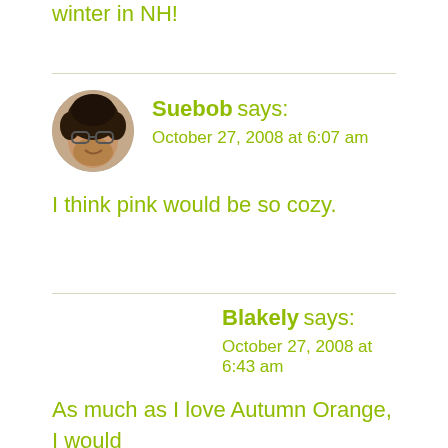winter in NH!
Suebob says:
October 27, 2008 at 6:07 am
[Figure (photo): Circular avatar photo of a person with curly dark hair and glasses, smiling]
I think pink would be so cozy.
Blakely says:
October 27, 2008 at 6:43 am
As much as I love Autumn Orange, I would have to say... Not only would the the...